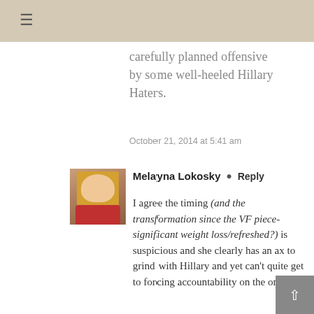☰
carefully planned offensive by some well-heeled Hillary Haters.
October 21, 2014 at 5:41 am
[Figure (photo): Profile photo of Melayna Lokosky - woman with long blonde hair wearing a red top]
Melayna Lokosky  Reply
I agree the timing (and the transformation since the VF piece-significant weight loss/refreshed?) is suspicious and she clearly has an ax to grind with Hillary and yet can't quite get to forcing accountability on the one